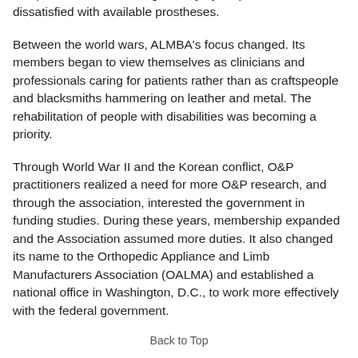companies were started, generally by amputees who were dissatisfied with available prostheses.
Between the world wars, ALMBA's focus changed. Its members began to view themselves as clinicians and professionals caring for patients rather than as craftspeople and blacksmiths hammering on leather and metal. The rehabilitation of people with disabilities was becoming a priority.
Through World War II and the Korean conflict, O&P practitioners realized a need for more O&P research, and through the association, interested the government in funding studies. During these years, membership expanded and the Association assumed more duties. It also changed its name to the Orthopedic Appliance and Limb Manufacturers Association (OALMA) and established a national office in Washington, D.C., to work more effectively with the federal government.
Back to Top
Setting Certification Standards